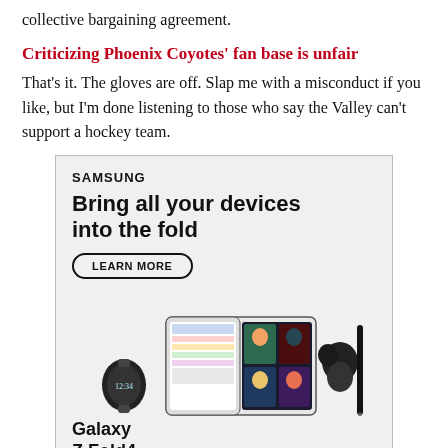collective bargaining agreement.
Criticizing Phoenix Coyotes' fan base is unfair
That's it. The gloves are off. Slap me with a misconduct if you like, but I'm done listening to those who say the Valley can't support a hockey team.
[Figure (other): Samsung advertisement for Galaxy Z Fold4. Shows 'SAMSUNG' brand name, headline 'Bring all your devices into the fold', a 'LEARN MORE' button, an illustrated scene with a smartwatch, a folding phone showing a video call with four people and a spreadsheet, earbuds, and a stylus pen. Text at bottom reads 'Galaxy Z Fold4' with a footnote about products sold separately and S Pen compatibility.]
What seven-day extension means in West, NFC